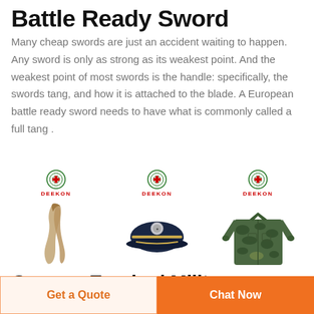Battle Ready Sword
Many cheap swords are just an accident waiting to happen. Any sword is only as strong as its weakest point. And the weakest point of most swords is the handle: specifically, the swords tang, and how it is attached to the blade. A European battle ready sword needs to have what is commonly called a full tang .
[Figure (photo): Three product images with DEEKON logos: a tan/brown scarf/shemagh, a dark navy military/police peaked cap with badge, and a green camouflage military jacket.]
German Empire | Military
Get a Quote
Chat Now